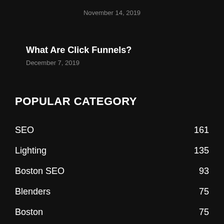November 14, 2019
What Are Click Funnels?
December 7, 2019
POPULAR CATEGORY
SEO 161
Lighting 135
Boston SEO 93
Blenders 75
Boston 75
Best Microwave 68
Social Media 64